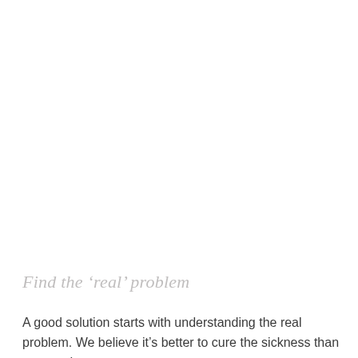Find the ‘real’ problem
A good solution starts with understanding the real problem. We believe it’s better to cure the sickness than to remedy